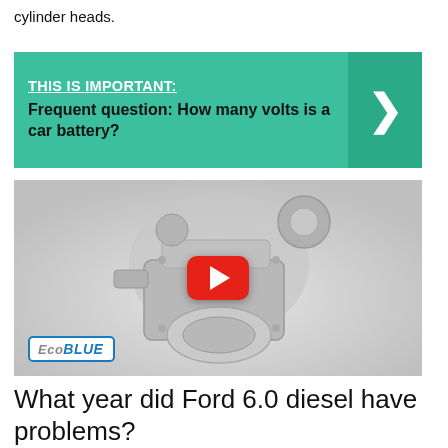cylinder heads.
[Figure (infographic): Teal/green callout box with bold underlined header 'THIS IS IMPORTANT:' and subtext 'Frequent question: How many volts is a car battery?' with a right-pointing chevron arrow on the right side.]
[Figure (photo): Video thumbnail showing a Ford EcoBlue engine on a light gray background with a red YouTube play button overlay. EcoBlue logo badge visible in lower left.]
What year did Ford 6.0 diesel have problems?